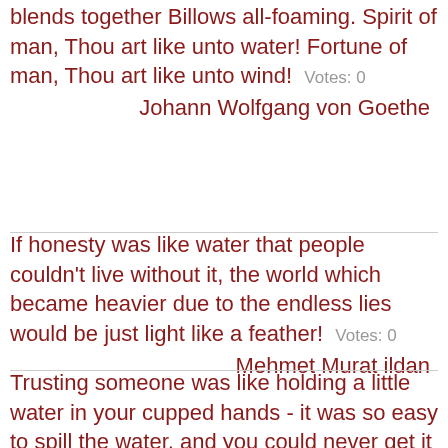blends together Billows all-foaming. Spirit of man, Thou art like unto water! Fortune of man, Thou art like unto wind!  Votes: 0
Johann Wolfgang von Goethe
If honesty was like water that people couldn't live without it, the world which became heavier due to the endless lies would be just light like a feather!  Votes: 0
Mehmet Murat ildan
Trusting someone was like holding a little water in your cupped hands - it was so easy to spill the water, and you could never get it back.  Votes: 0
Ken Follett